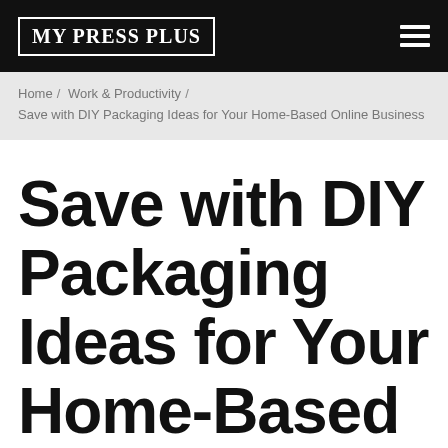MY PRESS PLUS
Home / Work & Productivity / Save with DIY Packaging Ideas for Your Home-Based Online Business
Save with DIY Packaging Ideas for Your Home-Based Online Business